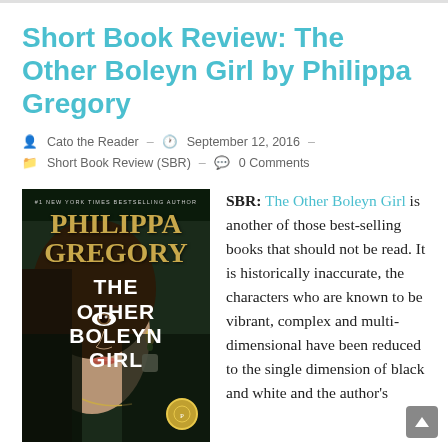Short Book Review: The Other Boleyn Girl by Philippa Gregory
Cato the Reader  –  September 12, 2016  –  Short Book Review (SBR)  –  0 Comments
[Figure (photo): Book cover of 'The Other Boleyn Girl' by Philippa Gregory, showing a woman's face and the book title in white text on a dark background]
SBR: The Other Boleyn Girl is another of those best-selling books that should not be read. It is historically inaccurate, the characters who are known to be vibrant, complex and multi-dimensional have been reduced to the single dimension of black and white and the author's